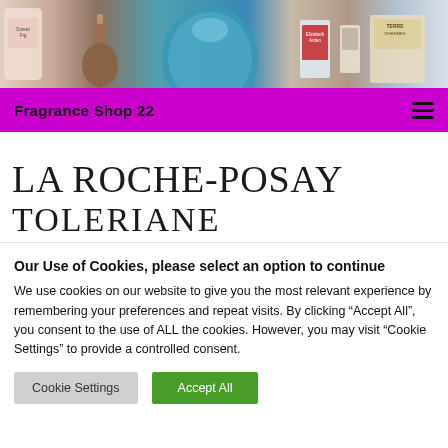[Figure (photo): Product photo showing various fragrance and beauty products including Sweet Fig lotion, perfume bottles including a large teal/blue bottle, Elizabeth Arden products, and Terre d'Hermès, arranged together on a light background.]
Fragrance Shop 22
LA ROCHE-POSAY
TOLERIANE WATERPROOF
Our Use of Cookies, please select an option to continue
We use cookies on our website to give you the most relevant experience by remembering your preferences and repeat visits. By clicking "Accept All", you consent to the use of ALL the cookies. However, you may visit "Cookie Settings" to provide a controlled consent.
Cookie Settings   Accept All